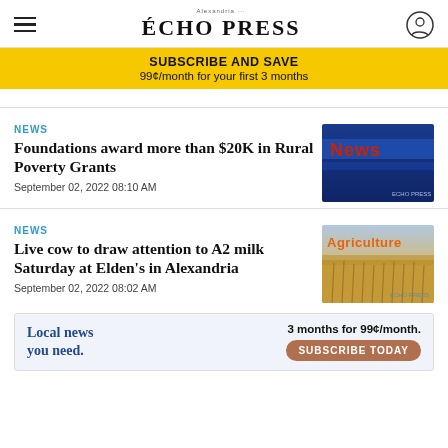ECHO PRESS
SUBSCRIBE AND SAVE
99¢/month for your first 3 months
NEWS
Foundations award more than $20K in Rural Poverty Grants
September 02, 2022 08:10 AM
[Figure (photo): News graphic with blue background and red 'News' text, Echo Press logo]
NEWS
Live cow to draw attention to A2 milk Saturday at Elden's in Alexandria
September 02, 2022 08:02 AM
[Figure (photo): Agriculture graphic with wheat field and 'Agriculture' text in orange, Echo Press logo]
Local news you need.  3 months for 99¢/month.  SUBSCRIBE TODAY